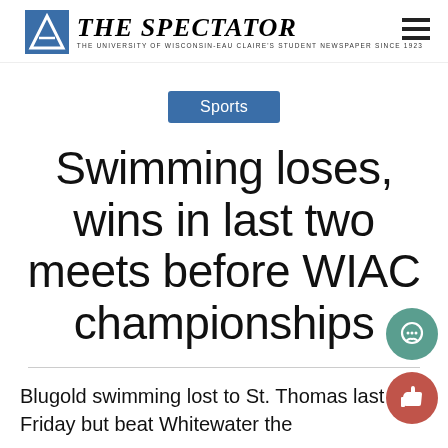THE SPECTATOR — THE UNIVERSITY OF WISCONSIN-EAU CLAIRE'S STUDENT NEWSPAPER SINCE 1923
Sports
Swimming loses, wins in last two meets before WIAC championships
Blugold swimming lost to St. Thomas last Friday but beat Whitewater the...